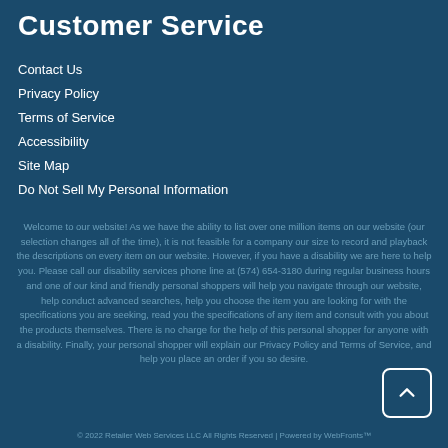Customer Service
Contact Us
Privacy Policy
Terms of Service
Accessibility
Site Map
Do Not Sell My Personal Information
Welcome to our website! As we have the ability to list over one million items on our website (our selection changes all of the time), it is not feasible for a company our size to record and playback the descriptions on every item on our website. However, if you have a disability we are here to help you. Please call our disability services phone line at (574) 654-3180 during regular business hours and one of our kind and friendly personal shoppers will help you navigate through our website, help conduct advanced searches, help you choose the item you are looking for with the specifications you are seeking, read you the specifications of any item and consult with you about the products themselves. There is no charge for the help of this personal shopper for anyone with a disability. Finally, your personal shopper will explain our Privacy Policy and Terms of Service, and help you place an order if you so desire.
© 2022 Retailer Web Services LLC All Rights Reserved | Powered by WebFronts™